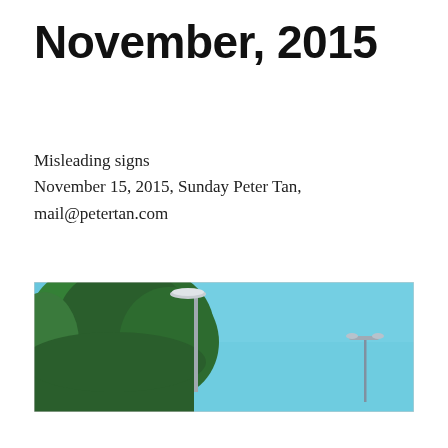November, 2015
Misleading signs
November 15, 2015, Sunday Peter Tan,
mail@petertan.com
[Figure (photo): Outdoor photo showing green trees on the left side and a clear blue sky. A street lamp pole is visible on the left, and another smaller street lamp is visible in the distance on the right side of the image.]